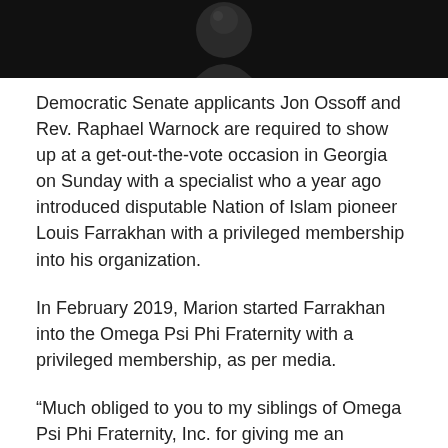[Figure (photo): Dark image at top of page, appears to be a person photographed against a dark background, only partially visible]
Democratic Senate applicants Jon Ossoff and Rev. Raphael Warnock are required to show up at a get-out-the-vote occasion in Georgia on Sunday with a specialist who a year ago introduced disputable Nation of Islam pioneer Louis Farrakhan with a privileged membership into his organization.
In February 2019, Marion started Farrakhan into the Omega Psi Phi Fraternity with a privileged membership, as per media.
“Much obliged to you to my siblings of Omega Psi Phi Fraternity, Inc. for giving me an Honorary Membership,” Farrakhan tweeted.